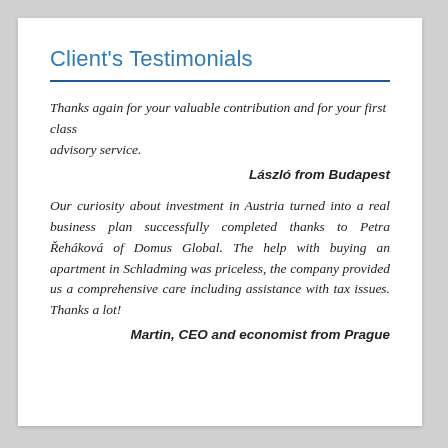Client's Testimonials
Thanks again for your valuable contribution and for your first class advisory service.
László from Budapest
Our curiosity about investment in Austria turned into a real business plan successfully completed thanks to Petra Řeháková of Domus Global. The help with buying an apartment in Schladming was priceless, the company provided us a comprehensive care including assistance with tax issues. Thanks a lot!
Martin, CEO and economist from Prague